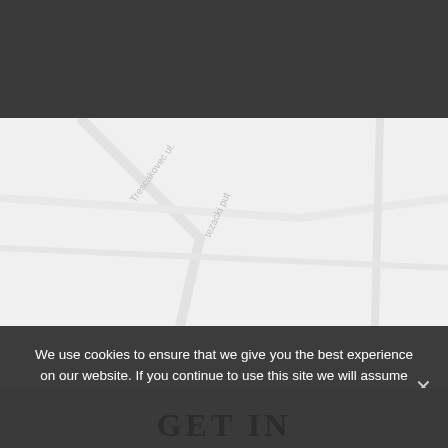[Figure (screenshot): Dark grey header bar at the top of a website]
[Figure (map): A light grey street map showing roads with labels 'Trescakovec ul.', 'tezacki put', 'Dedic', 'Sesilis' in faint grey text]
We use cookies to ensure that we give you the best experience on our website. If you continue to use this site we will assume that you are happy with it.
Ok
GET IN